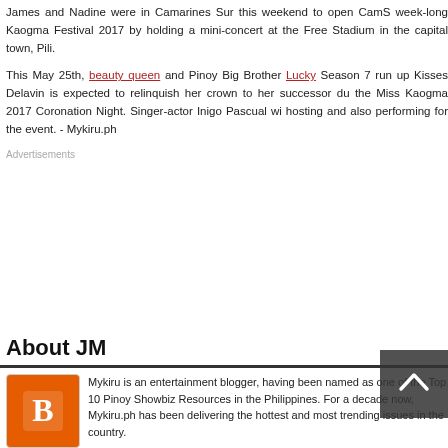James and Nadine were in Camarines Sur this weekend to open CamS week-long Kaogma Festival 2017 by holding a mini-concert at the Free Stadium in the capital town, Pili.
This May 25th, beauty queen and Pinoy Big Brother Lucky Season 7 run up Kisses Delavin is expected to relinquish her crown to her successor du the Miss Kaogma 2017 Coronation Night. Singer-actor Inigo Pascual wi hosting and also performing for the event. - Mykiru.ph
Advertisements
About JM
[Figure (logo): Blogger orange logo icon]
Mykiru is an entertainment blogger, having been named as one of the Top 10 Pinoy Showbiz Resources in the Philippines. For a decade now, Mykiru.ph has been delivering the hottest and most trending issues in the country.